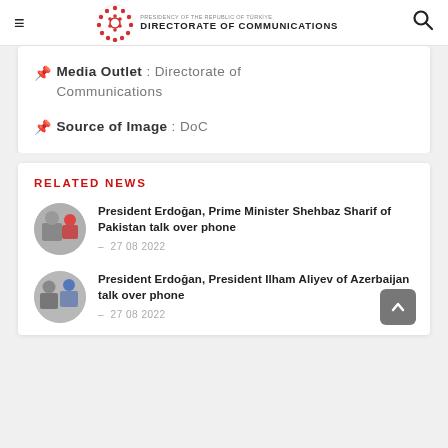DIRECTORATE OF COMMUNICATIONS — Presidency of the Republic of Türkiye
Media Outlet : Directorate of Communications
Source of Image : DoC
RELATED NEWS
President Erdoğan, Prime Minister Shehbaz Sharif of Pakistan talk over phone — 27 08 2022
President Erdoğan, President Ilham Aliyev of Azerbaijan talk over phone — 27 08 2022